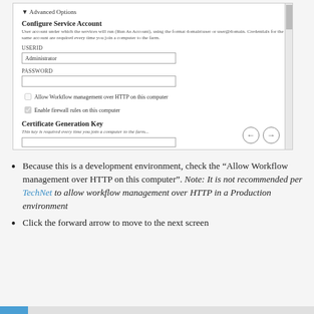[Figure (screenshot): Screenshot of a server configuration form showing Advanced Options section with Configure Service Account fields (USERID showing 'Administrator', PASSWORD field), checkboxes for 'Allow Workflow management over HTTP on this computer' and 'Enable firewall rules on this computer' (checked), Certificate Generation Key section with description and input field, and navigation arrows (back/forward) at bottom right.]
Because this is a development environment, check the “Allow Workflow management over HTTP on this computer”. Note: It is not recommended per TechNet to allow workflow management over HTTP in a Production environment
Click the forward arrow to move to the next screen